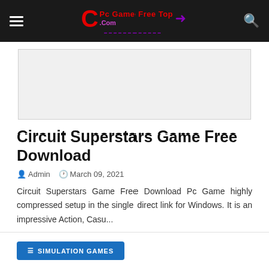Pc Game Free Top .Com — navigation bar with hamburger menu and search icon
[Figure (other): Advertisement or banner image placeholder area, light gray background with border]
Circuit Superstars Game Free Download
Admin   March 09, 2021
Circuit Superstars Game Free Download Pc Game highly compressed setup in the single direct link for Windows. It is an impressive Action, Casu...
Read more →
SIMULATION GAMES